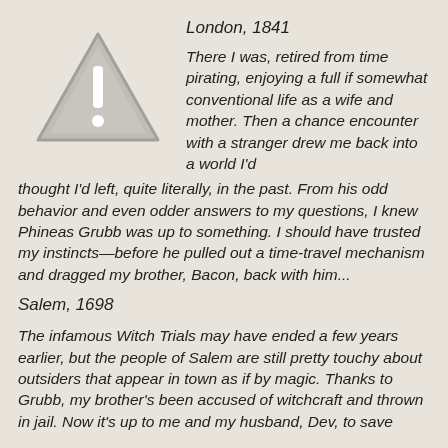[Figure (illustration): Warning/alert triangle icon with exclamation mark, gray colored]
London, 1841
There I was, retired from time pirating, enjoying a full if somewhat conventional life as a wife and mother. Then a chance encounter with a stranger drew me back into a world I'd thought I'd left, quite literally, in the past. From his odd behavior and even odder answers to my questions, I knew Phineas Grubb was up to something. I should have trusted my instincts—before he pulled out a time-travel mechanism and dragged my brother, Bacon, back with him...
Salem, 1698
The infamous Witch Trials may have ended a few years earlier, but the people of Salem are still pretty touchy about outsiders that appear in town as if by magic. Thanks to Grubb, my brother's been accused of witchcraft and thrown in jail. Now it's up to me and my husband, Dev, to save